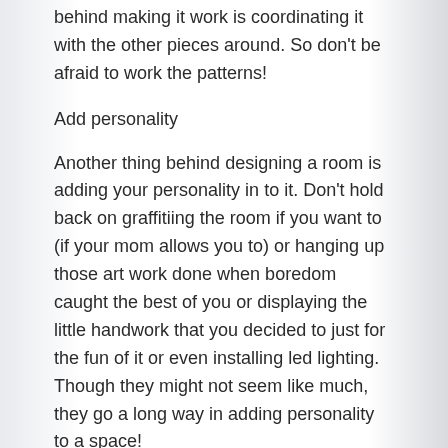behind making it work is coordinating it with the other pieces around. So don't be afraid to work the patterns!
Add personality
Another thing behind designing a room is adding your personality in to it. Don't hold back on graffitiing the room if you want to (if your mom allows you to) or hanging up those art work done when boredom caught the best of you or displaying the little handwork that you decided to just for the fun of it or even installing led lighting. Though they might not seem like much, they go a long way in adding personality to a space!
Comfort is key
More below, noting often the rooms that...